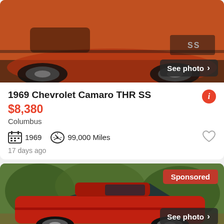[Figure (photo): Orange/red 1969 Chevrolet Camaro SS, front quarter view, classic muscle car on road. 'See photo >' button overlay in bottom right.]
1969 Chevrolet Camaro THR SS
$8,380
Columbus
1969  99,000 Miles
17 days ago
[Figure (photo): Red 1969 Chevrolet Camaro, side profile view, parked near trees. 'Sponsored' badge top right, 'See photo >' button overlay in bottom right.]